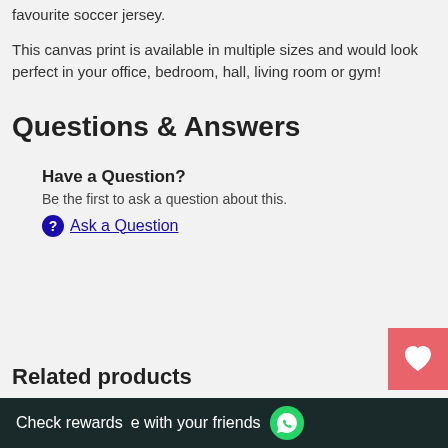favourite soccer jersey.
This canvas print is available in multiple sizes and would look perfect in your office, bedroom, hall, living room or gym!
Questions & Answers
Have a Question?
Be the first to ask a question about this.
Ask a Question
Related products
Check rewards   e with your friends